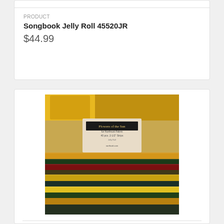PRODUCT
Songbook Jelly Roll 45520JR
$44.99
[Figure (photo): Product photo of Flowers of the Sun jelly roll fabric strips bundle, showing colorful horizontal strips of fabric with sunflower and tropical prints in yellows, reds, greens, and dark colors, with a label reading 'Flowers of the Sun' on top.]
PRODUCT
Flowers of the Sun, 40pcs, 2-1/2" strips